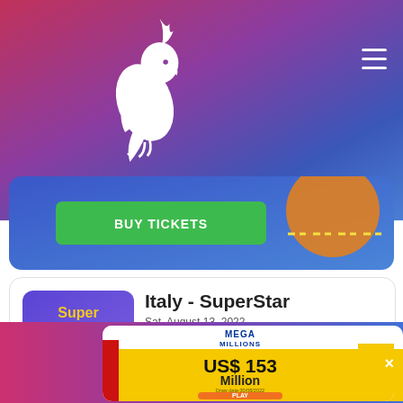[Figure (screenshot): Website header with gradient background (pink to blue), white cockatiel/parrot logo silhouette on left, hamburger menu icon on right]
[Figure (screenshot): Blue gradient card with green BUY TICKETS button, orange moon circle, and yellow dashed line decorations]
[Figure (screenshot): Italy SuperStar SuperEnalotto lottery logo - purple/blue rounded square with Super text in yellow and Star text in green]
Italy - SuperStar
Sat, August 13, 2022
EST.JACKPOT
€ 253.2 MILLION
YEAR →
[Figure (screenshot): SuperEnalotto promo card: red card showing € 262.2 Million, Draw date: 30/08/2022, PLAY button in orange]
[Figure (screenshot): Mega Millions promo card: gold/yellow card showing US$ 153 Million, Draw date: 30/08/2022, PLAY button in orange]
×